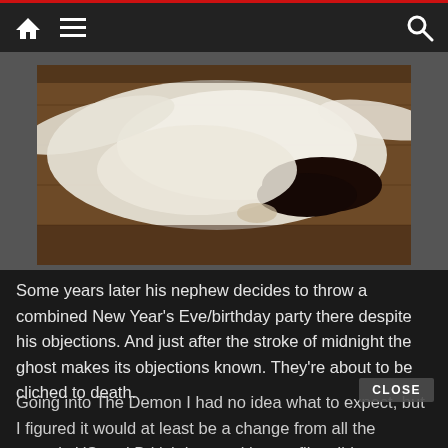Navigation bar with home icon, menu icon, and search icon
[Figure (photo): A person dressed in white lying on a wooden floor with dark hair spread out, viewed from above — a ghostly or supernatural scene.]
Some years later his nephew decides to throw a combined New Year's Eve/birthday party there despite his objections. And just after the stroke of midnight the ghost makes its objections known. They're about to be cliched to death.
Going into The Demon I had no idea what to expect, but I figured it would at least be a change from all the generic US and British haunted house films I'd seen lately. What I got was a generic haunted house vis...